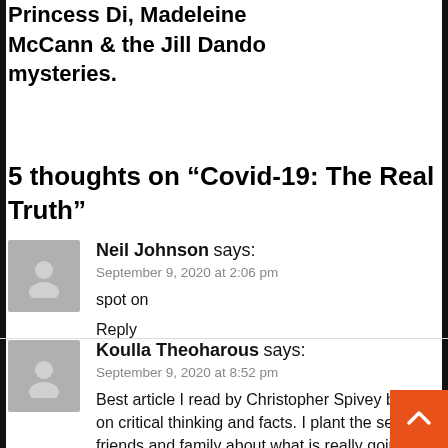Princess Di, Madeleine McCann & the Jill Dando mysteries.
5 thoughts on “Covid-19: The Real Truth”
Neil Johnson says:
September 9, 2020 at 2:06 pm
spot on
Reply
Koulla Theoharous says:
September 9, 2020 at 8:52 pm
Best article I read by Christopher Spivey based on critical thinking and facts. I plant the seed friends and family about what is really going on the scandemic. It is about the economy and the